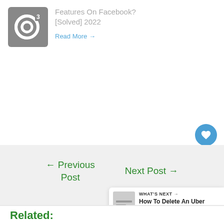[Figure (logo): Gray square logo with white circular arrow icon]
Features On Facebook? [Solved] 2022
Read More →
← Previous Post
Next Post →
Related: